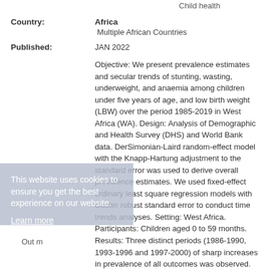Child health
Country: Africa
Multiple African Countries
Published: JAN 2022
Objective: We present prevalence estimates and secular trends of stunting, wasting, underweight, and anaemia among children under five years of age, and low birth weight (LBW) over the period 1985-2019 in West Africa (WA). Design: Analysis of Demographic and Health Survey (DHS) and World Bank data. DerSimonian-Laird random-effect model with the Knapp-Hartung adjustment to the standard error was used to derive overall prevalence estimates. We used fixed-effect ordinary least square regression models with cluster robust standard error to conduct time trends analyses. Setting: West Africa. Participants: Children aged 0 to 59 months. Results: Three distinct periods (1986-1990, 1993-1996 and 1997-2000) of sharp increases in prevalence of all outcomes was observed. After the year 2000
This website uses cookies to ensure you get the best experience on our website. Learn more